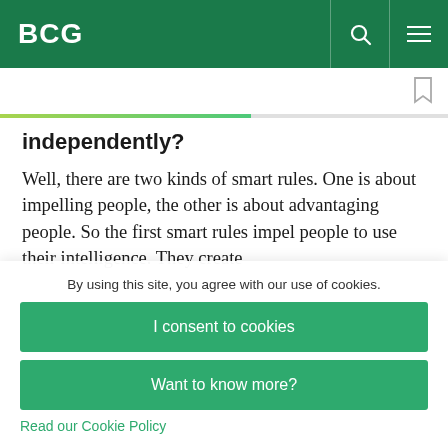BCG
independently?
Well, there are two kinds of smart rules. One is about impelling people, the other is about advantaging people. So the first smart rules impel people to use their intelligence. They create
By using this site, you agree with our use of cookies.
I consent to cookies
Want to know more?
Read our Cookie Policy